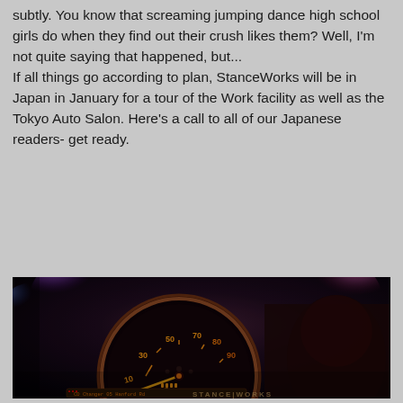subtly. You know that screaming jumping dance high school girls do when they find out their crush likes them? Well, I'm not quite saying that happened, but...
If all things go according to plan, StanceWorks will be in Japan in January for a tour of the Work facility as well as the Tokyo Auto Salon. Here's a call to all of our Japanese readers- get ready.
[Figure (photo): Close-up photograph of an illuminated car dashboard/tachometer (RPM gauge) with orange/amber glowing numbers (10, 30, 50, 70, 80, 90) on a dark background, with purple and pink bokeh lights in the background. A CD changer display is visible at the bottom. A STANCEWORKS watermark appears at the bottom right.]